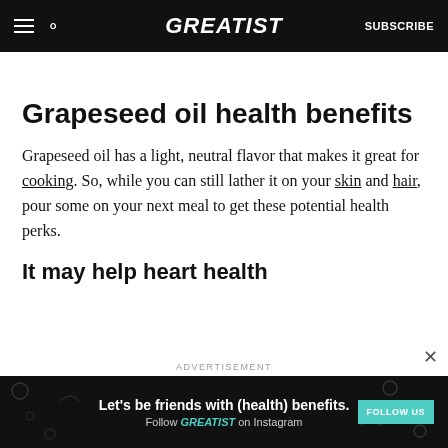GREATIST — SUBSCRIBE
Grapeseed oil health benefits
Grapeseed oil has a light, neutral flavor that makes it great for cooking. So, while you can still lather it on your skin and hair, pour some on your next meal to get these potential health perks.
It may help heart health
[Figure (screenshot): Advertisement banner: 'Let's be friends with (health) benefits. Follow GREATIST on Instagram' with FOLLOW US button on dark background with doodle pattern.]